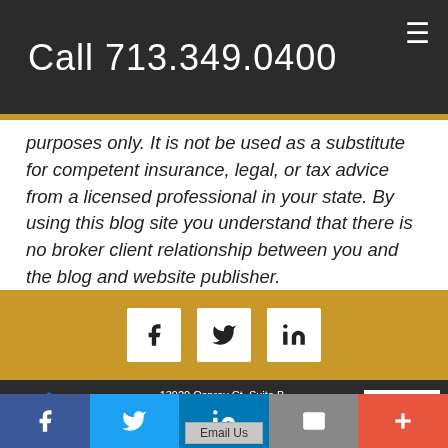Call 713.349.0400
purposes only. It is not be used as a substitute for competent insurance, legal, or tax advice from a licensed professional in your state. By using this blog site you understand that there is no broker client relationship between you and the blog and website publisher.
[Figure (other): Social media icons bar on gold background: Facebook (f), Twitter (bird), LinkedIn (in)]
[Figure (logo): Trusted Choice insurance logo]
13920 Osprey Ct, Suite B Webster, TX 77598 P: (713) 349-0400 | F: (713) 349-8485
[Figure (logo): BBB Rating: A+ badge]
[Figure (other): Email Us button]
Facebook | Twitter | LinkedIn | Email | More